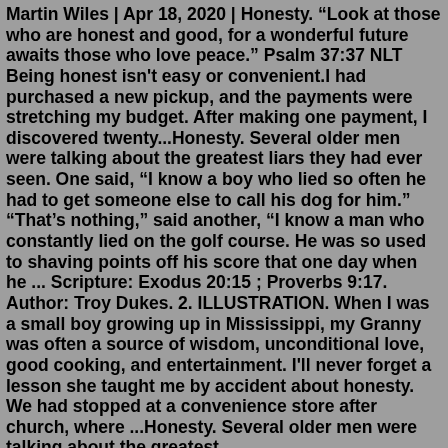Martin Wiles | Apr 18, 2020 | Honesty. "Look at those who are honest and good, for a wonderful future awaits those who love peace." Psalm 37:37 NLT Being honest isn't easy or convenient.I had purchased a new pickup, and the payments were stretching my budget. After making one payment, I discovered twenty...Honesty. Several older men were talking about the greatest liars they had ever seen. One said, “I know a boy who lied so often he had to get someone else to call his dog for him.” “That’s nothing,” said another, “I know a man who constantly lied on the golf course. He was so used to shaving points off his score that one day when he ... Scripture: Exodus 20:15 ; Proverbs 9:17. Author: Troy Dukes. 2. ILLUSTRATION. When I was a small boy growing up in Mississippi, my Granny was often a source of wisdom, unconditional love, good cooking, and entertainment. I'll never forget a lesson she taught me by accident about honesty. We had stopped at a convenience store after church, where ...Honesty. Several older men were talking about the greatest